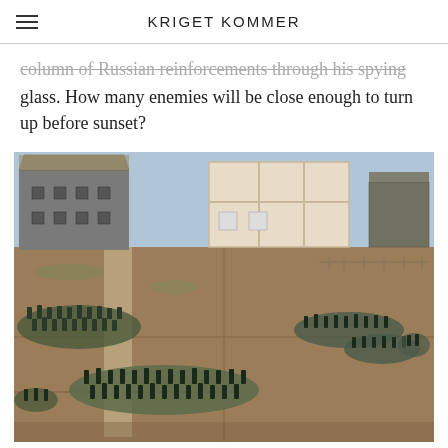KRIGET KOMMER
…column of Russian reinforcements through his spying glass. How many enemies will be close enough to turn up before sunset?
[Figure (photo): Wargaming table top scene showing miniature soldiers arranged on a terrain board with model buildings including a farmhouse with thatched roof, a construction in progress building, and a barn. Multiple groups of dark-uniformed infantry miniatures are positioned across a brown earthen terrain with grass tufts.]